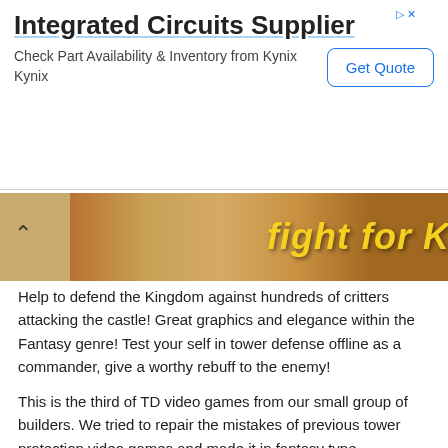[Figure (screenshot): Advertisement banner for 'Integrated Circuits Supplier' from Kynix, with a 'Get Quote' button]
[Figure (screenshot): Game banner image showing dark fantasy scene with yellow text 'Fight for K' (partially visible), with chevron up arrow]
Help to defend the Kingdom against hundreds of critters attacking the castle! Great graphics and elegance within the Fantasy genre! Test your self in tower defense offline as a commander, give a worthy rebuff to the enemy!
This is the third of TD video games from our small group of builders. We tried to repair the mistakes of previous tower protection video games and made it in fantasy type.
Features of Fantasy Realm TD:
- fifty four levels with completely different beginning circumstances and relative difficulty
- 11 kinds of enemies with distinctive abilities
- Flying and ground units